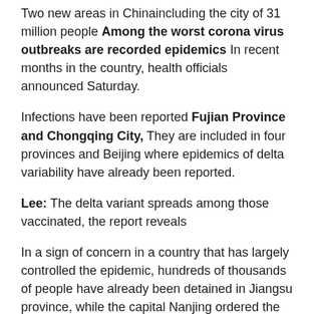Two new areas in Chinaincluding the city of 31 million people Among the worst corona virus outbreaks are recorded epidemics In recent months in the country, health officials announced Saturday.
Infections have been reported Fujian Province and Chongqing City, They are included in four provinces and Beijing where epidemics of delta variability have already been reported.
Lee: The delta variant spreads among those vaccinated, the report reveals
In a sign of concern in a country that has largely controlled the epidemic, hundreds of thousands of people have already been detained in Jiangsu province, while the capital Nanjing ordered the closure of tourist and cultural sites this Saturday, and 41,000